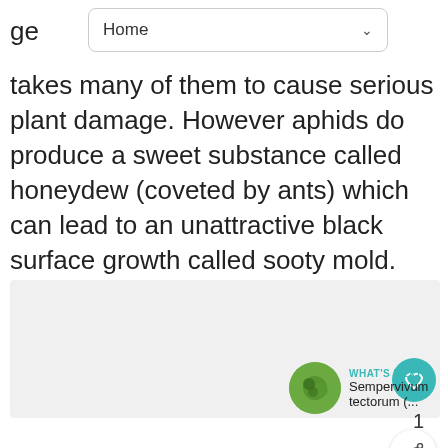Home
takes many of them to cause serious plant damage. However aphids do produce a sweet substance called honeydew (coveted by ants) which can lead to an unattractive black surface growth called sooty mold.
[Figure (photo): Plant image placeholder area (light gray), with like button (teal heart icon), count of 1, share button, and 'WHAT'S NEXT' panel showing Sempervivum tectorum thumbnail.]